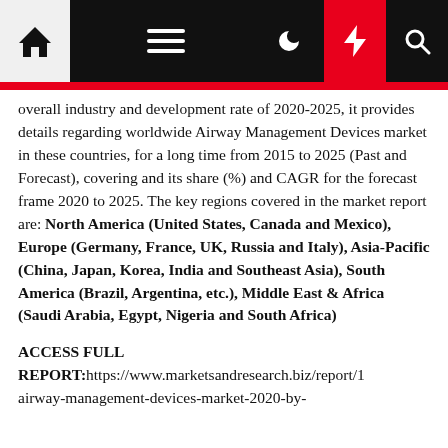[Navigation bar with home, menu, moon, lightning, search icons]
overall industry and development rate of 2020-2025, it provides details regarding worldwide Airway Management Devices market in these countries, for a long time from 2015 to 2025 (Past and Forecast), covering and its share (%) and CAGR for the forecast frame 2020 to 2025. The key regions covered in the market report are: North America (United States, Canada and Mexico), Europe (Germany, France, UK, Russia and Italy), Asia-Pacific (China, Japan, Korea, India and Southeast Asia), South America (Brazil, Argentina, etc.), Middle East & Africa (Saudi Arabia, Egypt, Nigeria and South Africa)
ACCESS FULL REPORT:https://www.marketsandresearch.biz/report/1airway-management-devices-market-2020-by-